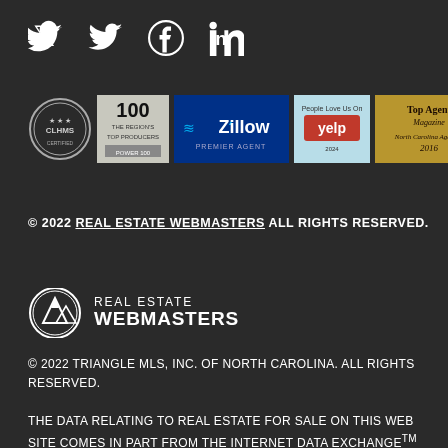[Figure (logo): Social media icons: Twitter bird, Facebook circle, LinkedIn 'in' icon]
[Figure (logo): Row of award/certification badges: CLHMS seal, Top 100 award, Zillow Premier Agent, Yelp award, Top Agent North Carolina Agent of 2016]
© 2022 REAL ESTATE WEBMASTERS ALL RIGHTS RESERVED.
[Figure (logo): Real Estate Webmasters logo with mountain icon and text REAL ESTATE WEBMASTERS]
© 2022 TRIANGLE MLS, INC. OF NORTH CAROLINA. ALL RIGHTS RESERVED.
THE DATA RELATING TO REAL ESTATE FOR SALE ON THIS WEB SITE COMES IN PART FROM THE INTERNET DATA EXCHANGETM